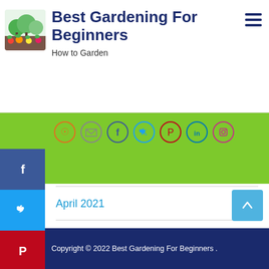Best Gardening For Beginners – How to Garden
[Figure (logo): Best Gardening For Beginners logo with vegetables and garden imagery]
Best Gardening For Beginners
How to Garden
[Figure (infographic): Green social media icons bar: RSS, email, Facebook, Twitter, Pinterest, LinkedIn, Instagram]
[Figure (infographic): Left sidebar social share buttons: Facebook (blue), Twitter (light blue), Pinterest (red), LinkedIn (blue), Email (teal)]
April 2021
March 2021
February 2021
Copyright © 2022 Best Gardening For Beginners .